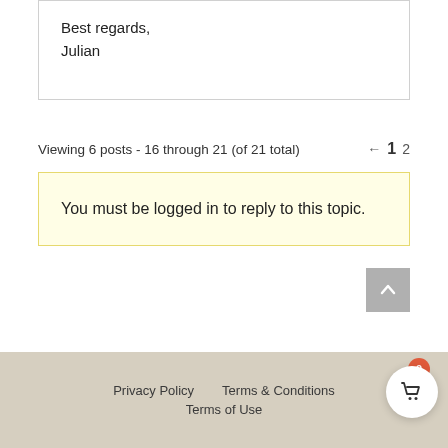Best regards,
Julian
Viewing 6 posts - 16 through 21 (of 21 total)  ← 1  2
You must be logged in to reply to this topic.
Privacy Policy   Terms & Conditions   Terms of Use